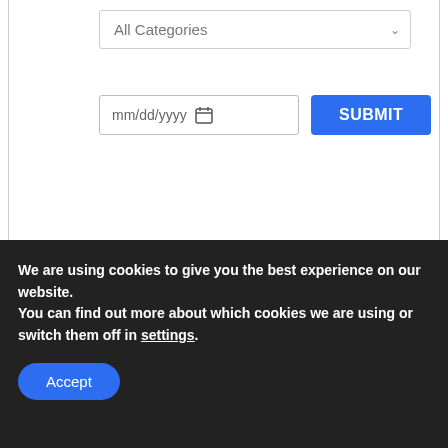[Figure (screenshot): Web form with a dropdown showing 'All Categories', a date input 'mm/dd/yyyy' with calendar icon, and a blue 'SUBMIT' button]
[Figure (photo): Close-up photo of a white fabric or clothing label with small printed text and dots]
We are using cookies to give you the best experience on our website.
You can find out more about which cookies we are using or switch them off in settings.